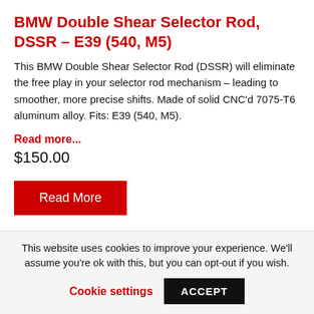BMW Double Shear Selector Rod, DSSR – E39 (540, M5)
This BMW Double Shear Selector Rod (DSSR) will eliminate the free play in your selector rod mechanism – leading to smoother, more precise shifts. Made of solid CNC'd 7075-T6 aluminum alloy. Fits: E39 (540, M5).
Read more...
$150.00
Read More
This website uses cookies to improve your experience. We'll assume you're ok with this, but you can opt-out if you wish.
Cookie settings
ACCEPT